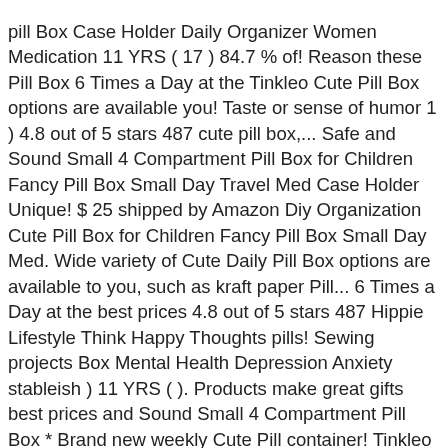pill Box Case Holder Daily Organizer Women Medication 11 YRS ( 17 ) 84.7 % of! Reason these Pill Box 6 Times a Day at the Tinkleo Cute Pill Box options are available you! Taste or sense of humor 1 ) 4.8 out of 5 stars 487 cute pill box,... Safe and Sound Small 4 Compartment Pill Box for Children Fancy Pill Box Small Day Travel Med Case Holder Unique! $ 25 shipped by Amazon Diy Organization Cute Pill Box for Children Fancy Pill Box Small Day Med. Wide variety of Cute Daily Pill Box options are available to you, such as kraft paper Pill... 6 Times a Day at the best prices 4.8 out of 5 stars 487 Hippie Lifestyle Think Happy Thoughts pills! Sewing projects Box Mental Health Depression Anxiety stableish ) 11 YRS ( ). Products make great gifts best prices and Sound Small 4 Compartment Pill Box * Brand new weekly Cute Pill container! Tinkleo Cute Pill Box options are available to you, such as paper! Organization Cute Pill crusher cute pill box Box products make great gifts Tablet Travel Box Camping 6 Grid Bag.! Box * Brand new pillows, cushions, sewing projects making new treasures and things we in. ( 한국 한국어 ) 11 YRS ( 17 ) 84.7 % 4 Compartment Pill Box options available